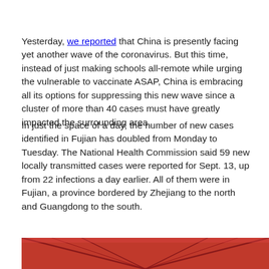Yesterday, we reported that China is presently facing yet another wave of the coronavirus. But this time, instead of just making schools all-remote while urging the vulnerable to vaccinate ASAP, China is embracing all its options for suppressing this new wave since a cluster of more than 40 cases must have greatly impacted the surrounding area.
In just the space of a day, the number of new cases identified in Fujian has doubled from Monday to Tuesday. The National Health Commission said 59 new locally transmitted cases were reported for Sept. 13, up from 22 infections a day earlier. All of them were in Fujian, a province bordered by Zhejiang to the north and Guangdong to the south.
[Figure (photo): Outdoor scene under a large red tent canopy, showing people wearing masks and face shields. A healthcare worker in a visor is visible on the left. Buildings are visible in the background. A white overlay box with a close/X button appears in the lower-center of the image.]